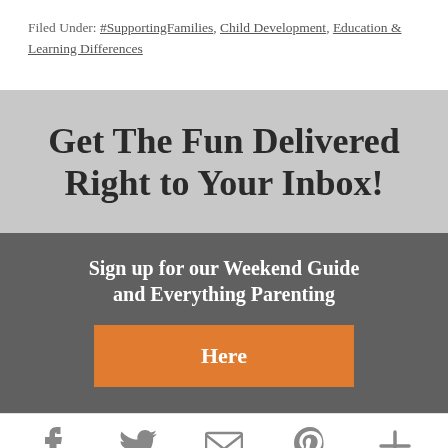Filed Under: #SupportingFamilies, Child Development, Education & Learning Differences
Get The Fun Delivered Right to Your Inbox!
Sign up for our Weekend Guide and Everything Parenting
Here
[Figure (infographic): Footer social share icons: Facebook, Twitter, Email, Pinterest, More (+)]